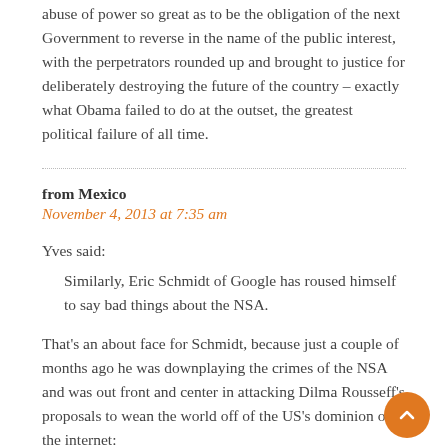abuse of power so great as to be the obligation of the next Government to reverse in the name of the public interest, with the perpetrators rounded up and brought to justice for deliberately destroying the future of the country – exactly what Obama failed to do at the outset, the greatest political failure of all time.
from Mexico
November 4, 2013 at 7:35 am
Yves said:
Similarly, Eric Schmidt of Google has roused himself to say bad things about the NSA.
That's an about face for Schmidt, because just a couple of months ago he was downplaying the crimes of the NSA and was out front and center in attacking Dilma Rousseff's proposals to wean the world off of the US's dominion of the internet:
When Brazilian president Dilma Rousseff postponed her official visit to the US in protest of National Security Agency spying activities on Tuesday, it seemed like a routine bit of diplomatic posturing.